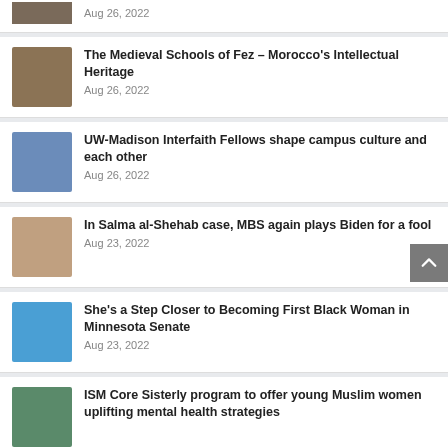Aug 26, 2022 (partial card at top)
The Medieval Schools of Fez – Morocco's Intellectual Heritage
Aug 26, 2022
UW-Madison Interfaith Fellows shape campus culture and each other
Aug 26, 2022
In Salma al-Shehab case, MBS again plays Biden for a fool
Aug 23, 2022
She's a Step Closer to Becoming First Black Woman in Minnesota Senate
Aug 23, 2022
ISM Core Sisterly program to offer young Muslim women uplifting mental health strategies